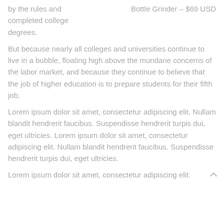by the rules and completed college degrees.
Bottle Grinder – $69 USD
But because nearly all colleges and universities continue to live in a bubble, floating high above the mundane concerns of the labor market, and because they continue to believe that the job of higher education is to prepare students for their fifth job.
Lorem ipsum dolor sit amet, consectetur adipiscing elit. Nullam blandit hendrerit faucibus. Suspendisse hendrerit turpis dui, eget ultricies. Lorem ipsum dolor sit amet, consectetur adipiscing elit. Nullam blandit hendrerit faucibus. Suspendisse hendrerit turpis dui, eget ultricies.
Lorem ipsum dolor sit amet, consectetur adipiscing elit. Nullam blandit hendrerit faucibus. Suspendisse hendrerit turpis dui, eget ultricies.